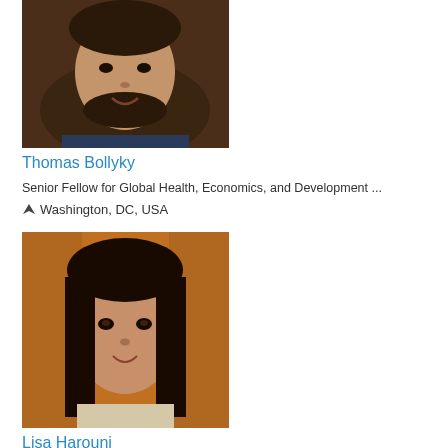[Figure (photo): Headshot of Thomas Bollyky, a man with dark hair and beard wearing a suit]
Thomas Bollyky
Senior Fellow for Global Health, Economics, and Development ...
Washington, DC, USA
[Figure (photo): Headshot of Lisa Harouni, a woman with long brown hair against an orange background]
Lisa Harouni
3D Printing Entrepreneur
UK
[Figure (photo): Partial headshot of a third person, a man with dark hair, partially visible at bottom of page]